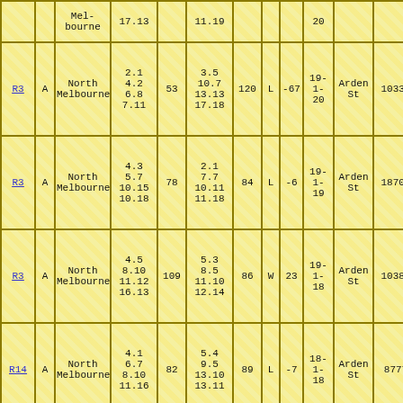| Route | Type | Location | Col4 | Col5 | Col6 | Col7 | Col8 | Col9 | Col10 | Col11 | Col12 |
| --- | --- | --- | --- | --- | --- | --- | --- | --- | --- | --- | --- |
|  |  | Melbourne | 17.13 |  | 11.19 |  |  |  | 20 |  |  |
| R3 | A | North Melbourne | 2.1
4.2
6.8
7.11 | 53 | 3.5
10.7
13.13
17.18 | 120 | L | -67 | 19-1-20 | Arden St | 10332 |
| R3 | A | North Melbourne | 4.3
5.7
10.15
10.18 | 78 | 2.1
7.7
10.11
11.18 | 84 | L | -6 | 19-1-19 | Arden St | 18704 |
| R3 | A | North Melbourne | 4.5
8.10
11.12
16.13 | 109 | 5.3
8.5
11.10
12.14 | 86 | W | 23 | 19-1-18 | Arden St | 10383 |
| R14 | A | North Melbourne | 4.1
6.7
8.10
11.16 | 82 | 5.4
9.5
13.10
13.11 | 89 | L | -7 | 18-1-18 | Arden St | 8777 |
|  |  |  | 2.3 |  | 4.9 |  |  |  |  |  |  |